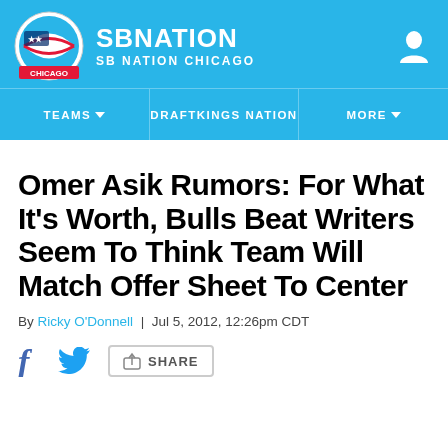SB NATION | SB NATION CHICAGO
Omer Asik Rumors: For What It's Worth, Bulls Beat Writers Seem To Think Team Will Match Offer Sheet To Center
By Ricky O'Donnell | Jul 5, 2012, 12:26pm CDT
SHARE